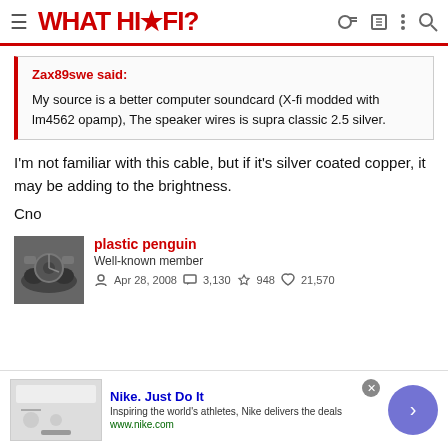WHAT HI-FI?
Zax89swe said:

My source is a better computer soundcard (X-fi modded with lm4562 opamp), The speaker wires is supra classic 2.5 silver.
I'm not familiar with this cable, but if it's silver coated copper, it may be adding to the brightness.

Cno
plastic penguin
Well-known member
Apr 28, 2008  3,130  948  21,570
[Figure (screenshot): Nike advertisement banner with logo, tagline 'Just Do It', description text and URL www.nike.com]